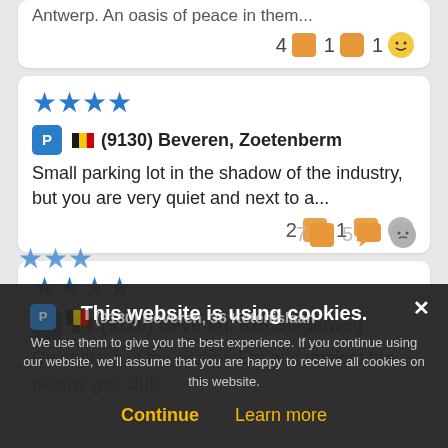Antwerp. An oasis of peace in them...
4 [img] 1 [img] 1 [img]
★★★★ (9130) Beveren, Zoetenberm
Small parking lot in the shadow of the industry, but you are very quiet and next to a...
2 [img] 1 [img]
★★★★ (9120) Beveren, 618 Singelweg
Quiet place in the harbor. Eat and drink at the nearby golf club
7 [img] 5 [img]
★★★ (9130) Beveren, 36 Ketenislaan
This website is using cookies.
We use them to give you the best experience. If you continue using our website, we'll assume that you are happy to receive all cookies on this website.
Continue  Learn more